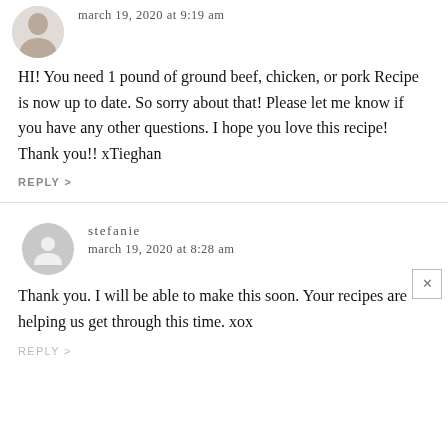march 19, 2020 at 9:19 am
HI! You need 1 pound of ground beef, chicken, or pork Recipe is now up to date. So sorry about that! Please let me know if you have any other questions. I hope you love this recipe! Thank you!! xTieghan
REPLY >
stefanie
march 19, 2020 at 8:28 am
Thank you. I will be able to make this soon. Your recipes are helping us get through this time. xox
REPLY >